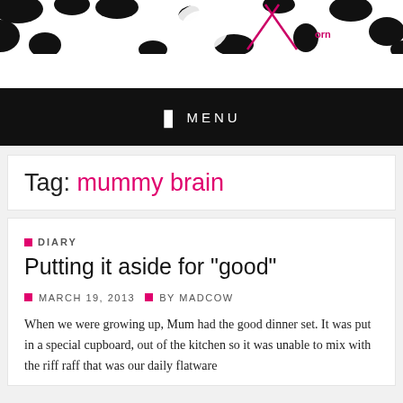[Figure (illustration): Black and white cow-pattern header image with logo/illustration elements partially visible]
MENU
Tag: mummy brain
DIARY
Putting it aside for "good"
MARCH 19, 2013  BY MADCOW
When we were growing up, Mum had the good dinner set. It was put in a special cupboard, out of the kitchen so it was unable to mix with the riff raff that was our daily flatware